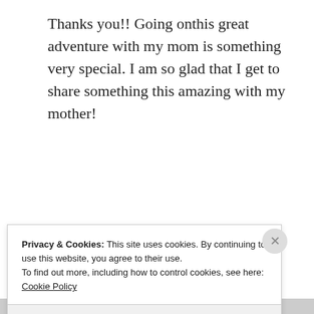Thanks you!! Going onthis great adventure with my mom is something very special. I am so glad that I get to share something this amazing with my mother!
★ Like
REPLY
Privacy & Cookies: This site uses cookies. By continuing to use this website, you agree to their use.
To find out more, including how to control cookies, see here: Cookie Policy
Close and accept